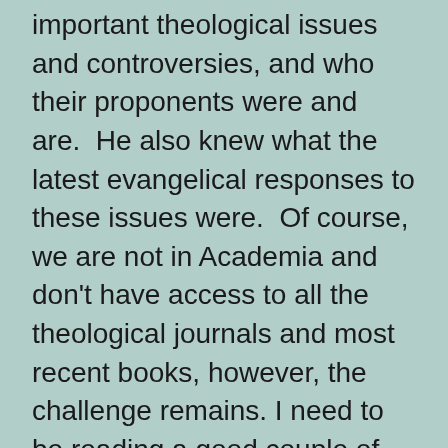important theological issues and controversies, and who their proponents were and are.  He also knew what the latest evangelical responses to these issues were.  Of course, we are not in Academia and don't have access to all the theological journals and most recent books, however, the challenge remains. I need to be reading a good couple of theological books each year and accessing online journals, like Themelios, to get a broad overview of the theological landscape.  What happens in the halls of Academia is more and more influencing our churches.